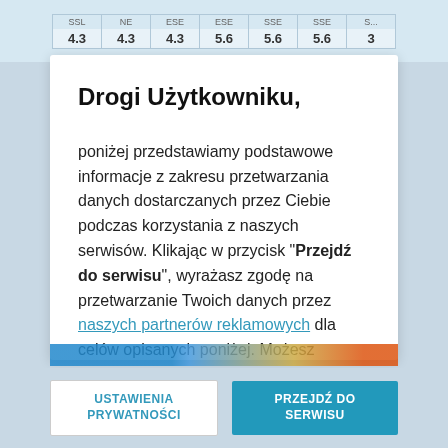| SSL 4.3 | NE 4.3 | ESE 4.3 | ESE 5.6 | SSE 5.6 | SSE 5.6 | S... 3 |
| --- | --- | --- | --- | --- | --- | --- |
| 4.3 | 4.3 | 4.3 | 5.6 | 5.6 | 5.6 | 3 |
Drogi Użytkowniku,
poniżej przedstawiamy podstawowe informacje z zakresu przetwarzania danych dostarczanych przez Ciebie podczas korzystania z naszych serwisów. Klikając w przycisk "Przejdź do serwisu", wyrażasz zgodę na przetwarzanie Twoich danych przez naszych partnerów reklamowych dla celów opisanych poniżej. Możesz również podjąć decyzję w sprawie udzielenia zgody w ramach "Ustawień prywatności". Jeżeli chcesz podjąć tę decyzję przy innej okazji, to kliknij w przycisk "Przypomnij później". Bez dokonania zmian w ramach "Ustawień prywatności", Twoje dane
USTAWIENIA PRYWATNOŚCI
PRZEJDŹ DO SERWISU